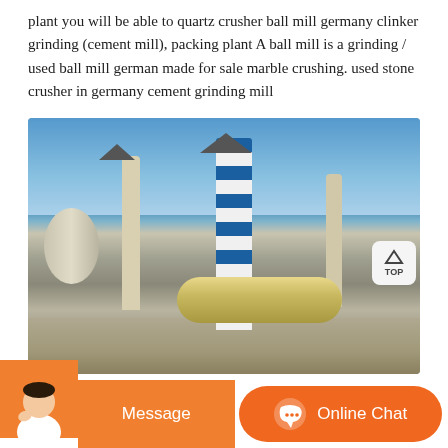plant you will be able to quartz crusher ball mill germany clinker grinding (cement mill), packing plant A ball mill is a grinding / used ball mill german made for sale marble crushing. used stone crusher in germany cement grinding mill
[Figure (photo): Outdoor industrial cement grinding plant with blue-and-white striped silo, multiple towers, conveyors, and a large ball mill cylinder in the foreground, against a blue sky.]